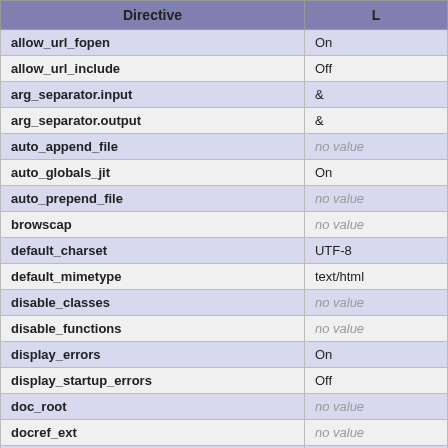| Directive | L |
| --- | --- |
| allow_url_fopen | On |
| allow_url_include | Off |
| arg_separator.input | & |
| arg_separator.output | & |
| auto_append_file | no value |
| auto_globals_jit | On |
| auto_prepend_file | no value |
| browscap | no value |
| default_charset | UTF-8 |
| default_mimetype | text/html |
| disable_classes | no value |
| disable_functions | no value |
| display_errors | On |
| display_startup_errors | Off |
| doc_root | no value |
| docref_ext | no value |
| docref_root | no value |
| enable_dl | On |
| enable_post_data_reading | On |